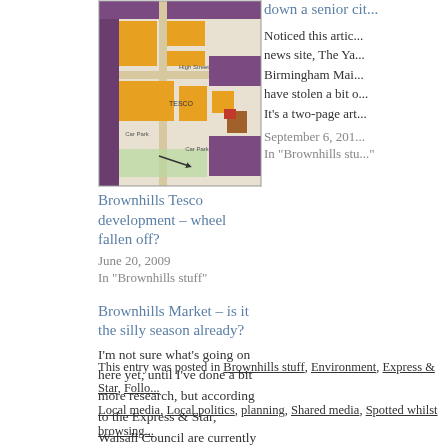[Figure (map): Planning/development map of Brownhills Tesco site showing building footprints in orange, purple, and brown with car parks and green spaces labeled]
Brownhills Tesco development – wheel fallen off?
June 20, 2009
In "Brownhills stuff"
Brownhills Market – is it the silly season already?
I'm not sure what's going on here yet, until I've done a bit more research, but according to the Express & Star, Walsall Council are currently looking for commercial tenders to run Brownhills Market for 'a maximum' of two years. This will
August 24, 2010
In "Brownhills stuff"
down a senior cit...
Noticed this artic... news site, The Ya... Birmingham Mai... have stolen a bit o... It's a two-page art...
September 6, 201...
In "Brownhills stu..."
This entry was posted in Brownhills stuff, Environment, Express & Star, Follo... Local media, Local politics, planning, Shared media, Spotted whilst browsing...